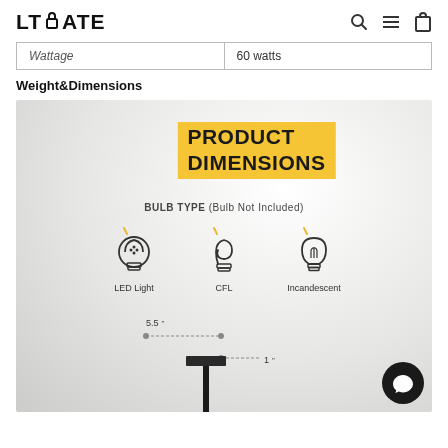LTMATE
| Wattage | 60 watts |
| --- | --- |
Weight&Dimensions
[Figure (infographic): Product dimensions infographic showing bulb type options (LED Light, CFL, Incandescent) and dimensional annotations of 5.5 inches and 1 inch for a floor lamp base.]